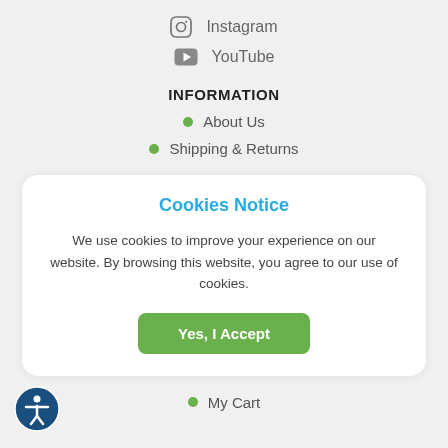Instagram
YouTube
INFORMATION
About Us
Shipping & Returns
Cookies Notice
We use cookies to improve your experience on our website. By browsing this website, you agree to our use of cookies.
Yes, I Accept
My Cart